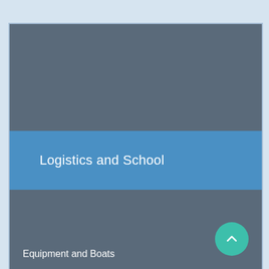[Figure (screenshot): Mobile app screenshot showing a card-based UI. Top section is a dark blue-grey panel. Middle section is a medium blue banner with the text 'Logistics and School'. Bottom section is another dark blue-grey panel with the text 'Equipment and Boats' at the lower left, and a teal circular FAB button with an upward chevron icon at the lower right.]
Logistics and School
Equipment and Boats